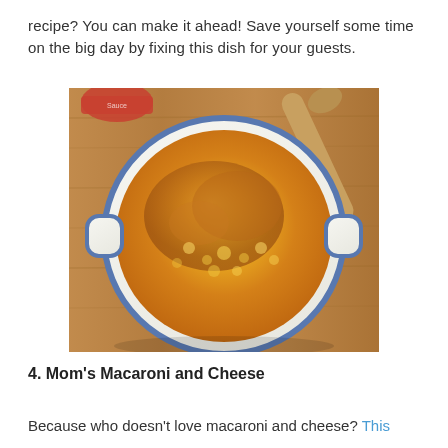recipe? You can make it ahead! Save yourself some time on the big day by fixing this dish for your guests.
[Figure (photo): Overhead photo of a white ceramic casserole dish with blue rim filled with baked macaroni and cheese with golden breadcrumb topping, sitting on a wooden cutting board with a wooden spoon and a jar in the background.]
4. Mom's Macaroni and Cheese
Because who doesn't love macaroni and cheese? This